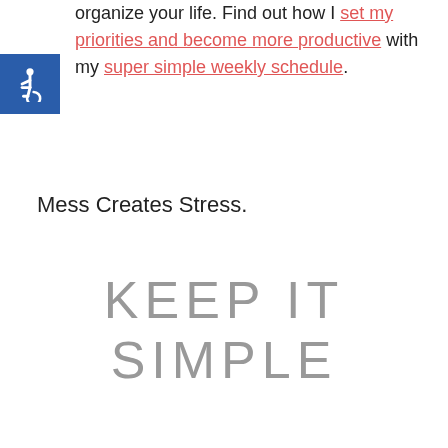organize your life. Find out how I set my priorities and become more productive with my super simple weekly schedule.
[Figure (illustration): Blue accessibility wheelchair symbol badge in top-left corner]
Mess Creates Stress.
KEEP IT SIMPLE